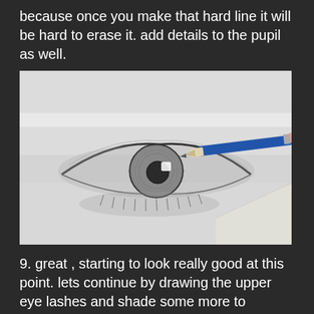because once you make that hard line it will be hard to erase it. add details to the pupil as well.
[Figure (photo): A photograph of a pencil drawing of a realistic human eye. A blue pencil is touching the corner of the eye. The drawing shows detailed shading, iris texture, and lower eyelashes on white paper.]
9. great , starting to look really good at this point. lets continue by drawing the upper eye lashes and shade some more to